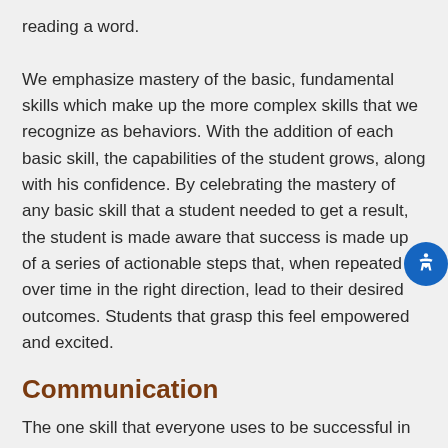reading a word.

We emphasize mastery of the basic, fundamental skills which make up the more complex skills that we recognize as behaviors. With the addition of each basic skill, the capabilities of the student grows, along with his confidence. By celebrating the mastery of any basic skill that a student needed to get a result, the student is made aware that success is made up of a series of actionable steps that, when repeated over time in the right direction, lead to their desired outcomes. Students that grasp this feel empowered and excited.
Communication
The one skill that everyone uses to be successful in life is the skill of communication. Whatever it is that a student wants to accomplish, they need to be able to communicate it. If nothing else, and even though it